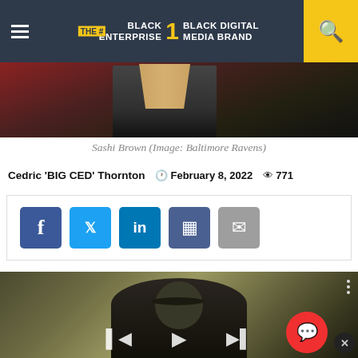BLACK ENTERPRISE THE #1 BLACK DIGITAL MEDIA BRAND
[Figure (photo): Cropped photo of Sashi Brown wearing a suit with a tie, against dark background]
Sashi Brown (Image: Baltimore Ravens)
Cedric 'BIG CED' Thornton  February 8, 2022  771
[Figure (infographic): Social sharing buttons: Facebook, Twitter, LinkedIn, Instagram, Email]
[Figure (photo): Man wearing sunglasses and dark jacket, with video player controls overlaid showing prev, play, and next buttons]